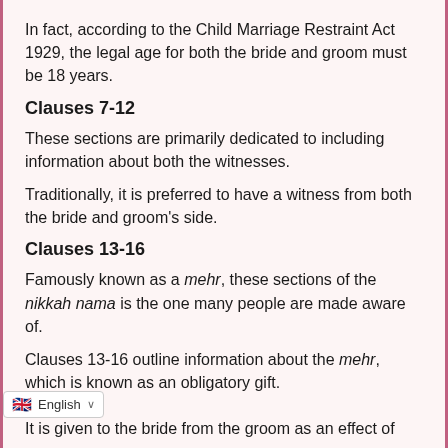In fact, according to the Child Marriage Restraint Act 1929, the legal age for both the bride and groom must be 18 years.
Clauses 7-12
These sections are primarily dedicated to including information about both the witnesses.
Traditionally, it is preferred to have a witness from both the bride and groom's side.
Clauses 13-16
Famously known as a mehr, these sections of the nikkah nama is the one many people are made aware of.
Clauses 13-16 outline information about the mehr, which is known as an obligatory gift.
It is given to the bride from the groom as an effect of